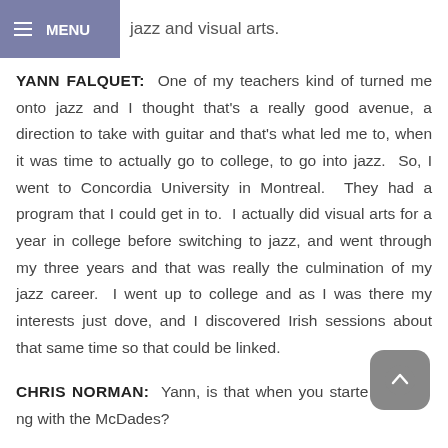MENU  jazz and visual arts.
YANN FALQUET:  One of my teachers kind of turned me onto jazz and I thought that's a really good avenue, a direction to take with guitar and that's what led me to, when it was time to actually go to college, to go into jazz.  So, I went to Concordia University in Montreal.  They had a program that I could get in to.  I actually did visual arts for a year in college before switching to jazz, and went through my three years and that was really the culmination of my jazz career.  I went up to college and as I was there my interests just dove, and I discovered Irish sessions about that same time so that could be linked.
CHRIS NORMAN:  Yann, is that when you started playing with the McDades?